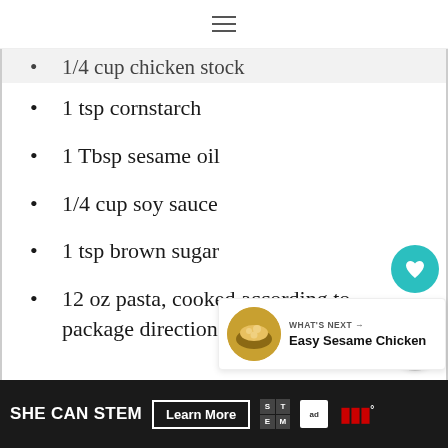≡ (hamburger menu icon)
1/4 cup chicken stock (cut off at top)
1 tsp cornstarch
1 Tbsp sesame oil
1/4 cup soy sauce
1 tsp brown sugar
12 oz pasta, cooked according to package directions.
[Figure (infographic): Social sharing buttons: teal heart button with 43.1K count, and a share button below]
[Figure (infographic): What's Next card showing Easy Sesame Chicken with a food photo thumbnail]
[Figure (infographic): Advertisement bar: SHE CAN STEM, Learn More button, STEM logo, Ad Council logo, CNN logo]